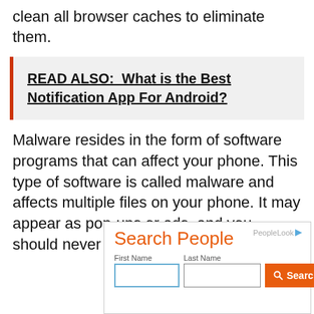clean all browser caches to eliminate them.
READ ALSO:  What is the Best Notification App For Android?
Malware resides in the form of software programs that can affect your phone. This type of software is called malware and affects multiple files on your phone. It may appear as pop-ups or ads, and you should never click
[Figure (other): Search People advertisement widget with PeopleLooker branding, First Name and Last Name input fields, and an orange Search button]